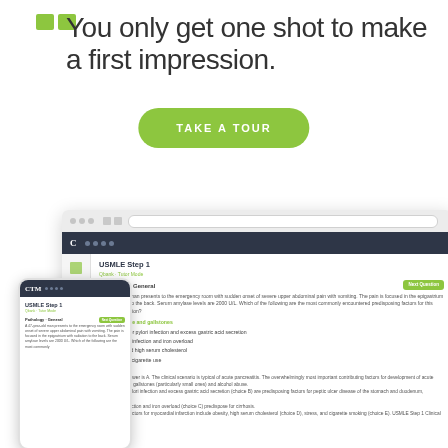You only get one shot to make a first impression.
TAKE A TOUR
[Figure (screenshot): Browser screenshot showing a USMLE Step 1 question interface (Qbank/Tutor Mode) with a pathology question about acute pancreatitis, multiple choice answers, and an explanation panel. A mobile device screenshot overlays the lower-left corner showing the same interface on a phone.]